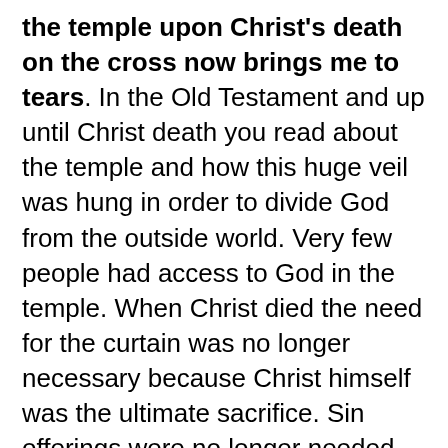the temple upon Christ's death on the cross now brings me to tears. In the Old Testament and up until Christ death you read about the temple and how this huge veil was hung in order to divide God from the outside world. Very few people had access to God in the temple. When Christ died the need for the curtain was no longer necessary because Christ himself was the ultimate sacrifice. Sin offerings were no longer needed because Christ covered us with his blood.
In the last 9 months I have read the Bible cover to cover and I can't get enough. I now have even more questions than I did before I started reading and crave to know more. I have started back in Genesis again and look forward to continuing